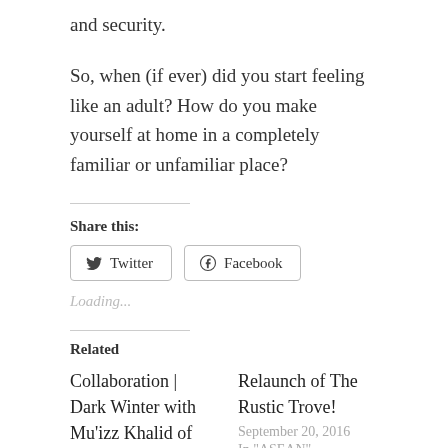and security.
So, when (if ever) did you start feeling like an adult? How do you make yourself at home in a completely familiar or unfamiliar place?
Share this:
Loading...
Related
Collaboration | Dark Winter with Mu'izz Khalid of Wearrior Instinct
February 20, 2016
Relaunch of The Rustic Trove!
September 20, 2016
In "ASEAN"